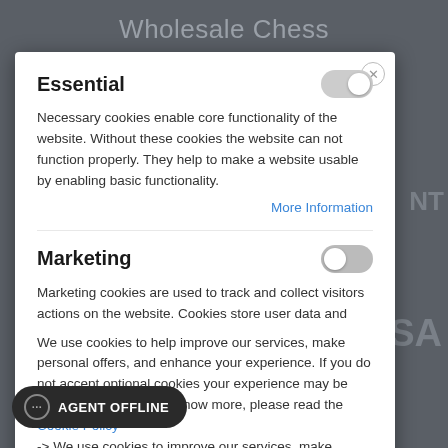Wholesale Chess
Essential
Necessary cookies enable core functionality of the website. Without these cookies the website can not function properly. They help to make a website usable by enabling basic functionality.
More Information
Marketing
Marketing cookies are used to track and collect visitors actions on the website. Cookies store user data and
We use cookies to help improve our services, make personal offers, and enhance your experience. If you do not accept optional cookies your experience may be affected. If you want to know more, please read the Cookie Policy -> We use cookies to improve our services, make
AGENT OFFLINE